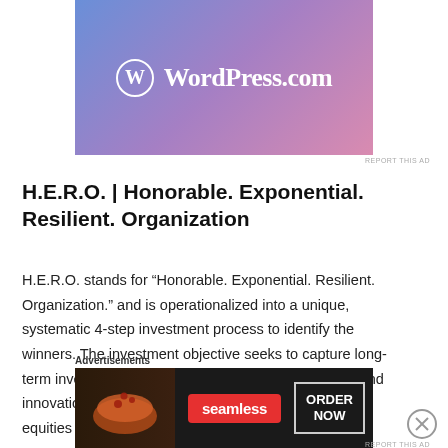[Figure (logo): WordPress.com advertisement banner with blue-to-pink gradient background and WordPress logo (W in circle) with text 'WordPress.com']
REPORT THIS AD
H.E.R.O. | Honorable. Exponential. Resilient. Organization
H.E.R.O. stands for “Honorable. Exponential. Resilient. Organization.” and is operationalized into a unique, systematic 4-step investment process to identify the winners. The investment objective seeks to capture long-term investment returns created by disruptive forces and innovation by focusing on high-quality and liquid listed equities in the
Advertisements
[Figure (photo): Seamless food delivery advertisement showing pizza with Seamless logo in red and 'ORDER NOW' button on dark background]